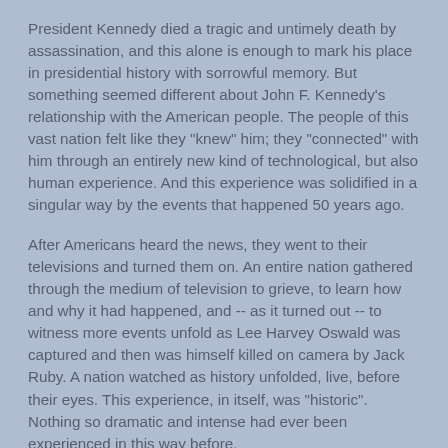President Kennedy died a tragic and untimely death by assassination, and this alone is enough to mark his place in presidential history with sorrowful memory. But something seemed different about John F. Kennedy's relationship with the American people. The people of this vast nation felt like they "knew" him; they "connected" with him through an entirely new kind of technological, but also human experience. And this experience was solidified in a singular way by the events that happened 50 years ago.
After Americans heard the news, they went to their televisions and turned them on. An entire nation gathered through the medium of television to grieve, to learn how and why it had happened, and -- as it turned out -- to witness more events unfold as Lee Harvey Oswald was captured and then was himself killed on camera by Jack Ruby. A nation watched as history unfolded, live, before their eyes. This experience, in itself, was "historic". Nothing so dramatic and intense had ever been experienced in this way before.
And 50 years ago today, America went to the funeral.